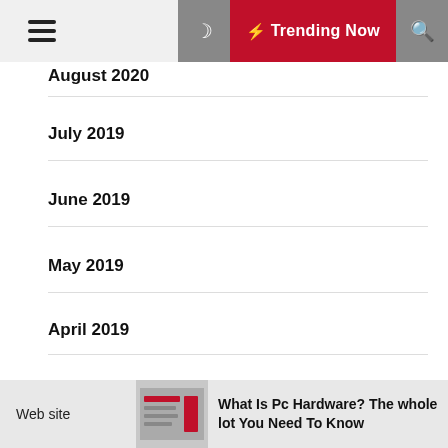≡  🌙  ⚡ Trending Now  🔍
August 2020
July 2019
June 2019
May 2019
April 2019
March 2019
February 2019
January 2019
Web site   What Is Pc Hardware? The whole lot You Need To Know